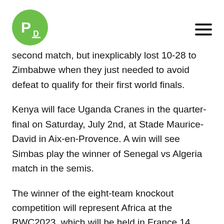PD logo and navigation
second match, but inexplicably lost 10-28 to Zimbabwe when they just needed to avoid defeat to qualify for their first world finals.
Kenya will face Uganda Cranes in the quarter-final on Saturday, July 2nd, at Stade Maurice-David in Aix-en-Provence. A win will see Simbas play the winner of Senegal vs Algeria match in the semis.
The winner of the eight-team knockout competition will represent Africa at the RWC2023, which will be held in France 14 months later.